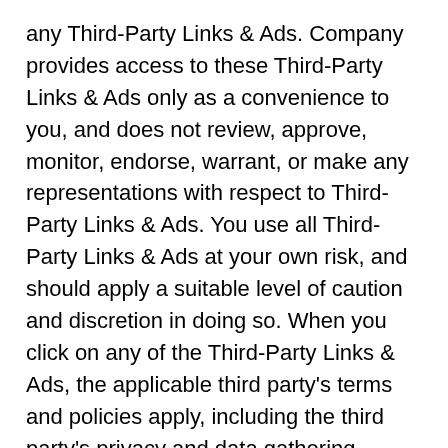any Third-Party Links & Ads. Company provides access to these Third-Party Links & Ads only as a convenience to you, and does not review, approve, monitor, endorse, warrant, or make any representations with respect to Third-Party Links & Ads. You use all Third-Party Links & Ads at your own risk, and should apply a suitable level of caution and discretion in doing so. When you click on any of the Third-Party Links & Ads, the applicable third party's terms and policies apply, including the third party's privacy and data gathering practices.
Other Users. Each Site user is solely responsible for any and all of its own User Content. Because we do not control User Content, you acknowledge and agree that we are not responsible for any User Content, whether provided by you or by others. You agree that Company will not be responsible for